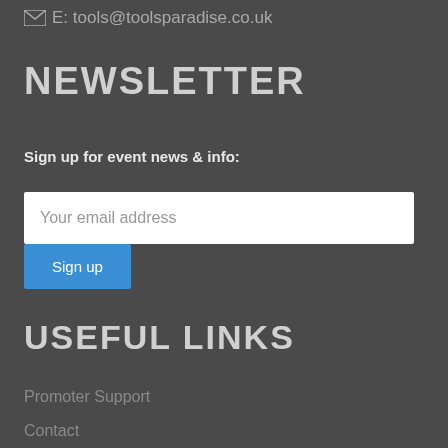E: tools@toolsparadise.co.uk
NEWSLETTER
Sign up for event news & info:
[Figure (screenshot): Email address input field with placeholder text 'Your email address' and a blue 'Sign up' button below]
USEFUL LINKS
Promoter Support
Contact